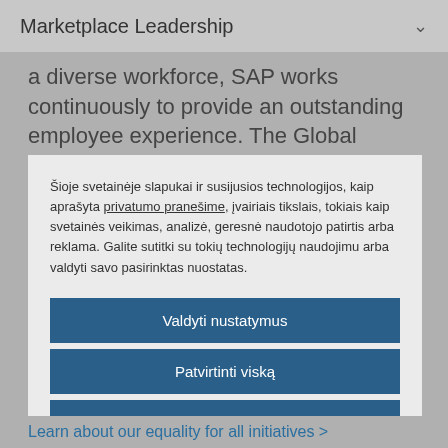Marketplace Leadership
a diverse workforce, SAP works continuously to provide an outstanding employee experience. The Global Health & Well-Being team fosters the health and support of the workplace culture.
Šioje svetainėje slapukai ir susijusios technologijos, kaip aprašyta privatumo pranešime, įvairiais tikslais, tokiais kaip svetainės veikimas, analizė, geresnė naudotojo patirtis arba reklama. Galite sutitki su tokių technologijų naudojimu arba valdyti savo pasirinktas nuostatas.
Valdyti nustatymus
Patvirtinti viską
Atsisakyti visko
Pareiškimas apie slapukus
Learn about our equality for all initiatives >